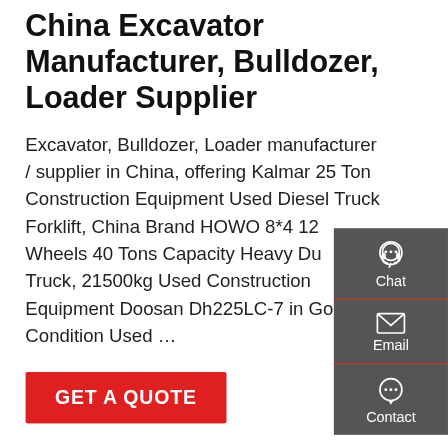China Excavator Manufacturer, Bulldozer, Loader Supplier
Excavator, Bulldozer, Loader manufacturer / supplier in China, offering Kalmar 25 Ton Construction Equipment Used Diesel Truck Forklift, China Brand HOWO 8*4 12 Wheels 40 Tons Capacity Heavy Duty Truck, 21500kg Used Construction Equipment Doosan Dh225LC-7 in Good Condition Used …
[Figure (other): GET A QUOTE red call-to-action button]
[Figure (other): Right sidebar with Chat, Email, and Contact icons on dark grey background]
[Figure (photo): Photo of a green HOWO heavy duty truck cab, with a red vehicle partially visible on the left]